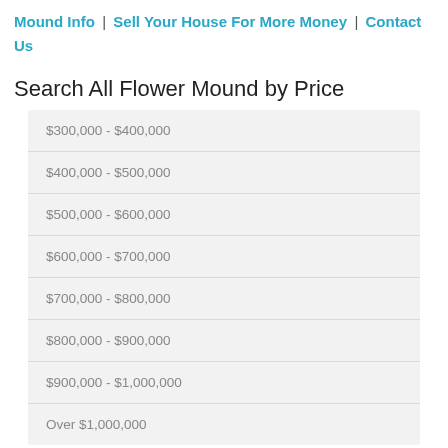Mound Info | Sell Your House For More Money | Contact Us
Search All Flower Mound by Price
$300,000 - $400,000
$400,000 - $500,000
$500,000 - $600,000
$600,000 - $700,000
$700,000 - $800,000
$800,000 - $900,000
$900,000 - $1,000,000
Over $1,000,000